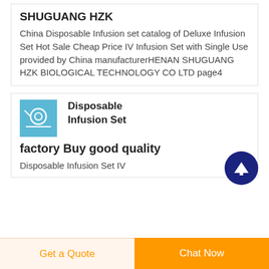SHUGUANG HZK
China Disposable Infusion set catalog of Deluxe Infusion Set Hot Sale Cheap Price IV Infusion Set with Single Use provided by China manufacturerHENAN SHUGUANG HZK BIOLOGICAL TECHNOLOGY CO LTD page4
[Figure (photo): Small thumbnail image of a disposable infusion set / IV set product, blue toned]
Disposable Infusion Set factory Buy good quality
Disposable Infusion Set IV...